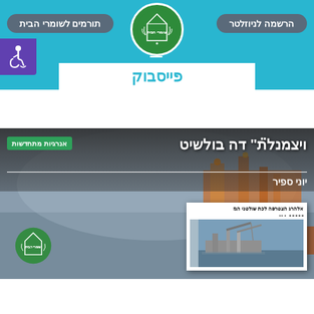תורמים לשומרי הבית | [logo: שומרי הבית] | הרשמה לניוזלטר
[Figure (logo): Green circular logo with Hebrew text שומרי הבית and wheat/laurel wreath design]
[Figure (infographic): Purple accessibility icon box with wheelchair symbol]
≡
פייסבוק
ויצמנל̈ת" דה בולשיט
אנרגיות מתחדשות
יוני ספיר
[Figure (screenshot): Newspaper clipping showing Hebrew headline אלהרג הצטרפה לכת שולטני הגז with image of oil rig crane vessel at sea]
[Figure (photo): Oil rig platform at sea in foggy/hazy conditions with שומרי הבית logo overlay]